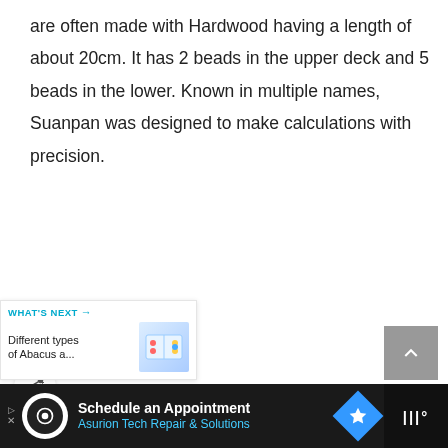are often made with Hardwood having a length of about 20cm. It has 2 beads in the upper deck and 5 beads in the lower. Known in multiple names, Suanpan was designed to make calculations with precision.
[Figure (screenshot): UI buttons: heart/like button and share button, both teal circles with white icons]
[Figure (screenshot): What's Next panel showing 'Different types of Abacus a...' with abacus image thumbnail]
[Figure (screenshot): Scroll to top button, grey square with upward chevron]
[Figure (screenshot): Advertisement bar: Schedule an Appointment - Asurion Tech Repair & Solutions]